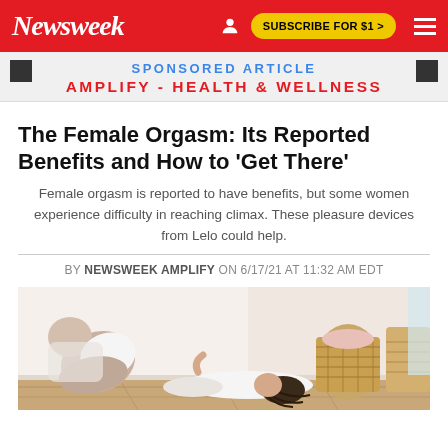Newsweek — SUBSCRIBE FOR $1 >
SPONSORED ARTICLE
AMPLIFY - HEALTH & WELLNESS
The Female Orgasm: Its Reported Benefits and How to 'Get There'
Female orgasm is reported to have benefits, but some women experience difficulty in reaching climax. These pleasure devices from Lelo could help.
BY NEWSWEEK AMPLIFY ON 6/17/21 AT 11:32 AM EDT
[Figure (photo): A woman lying on a wooden floor in a white room with wicker baskets, relaxing in casual clothing]